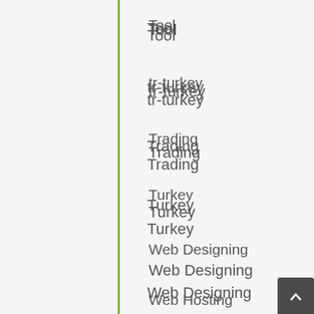Tool
tr-turkey
Trading
Turkey
Web Designing
Web Hosting
WhatsApp
Wi-fi
Windows
Wordpress
Writing